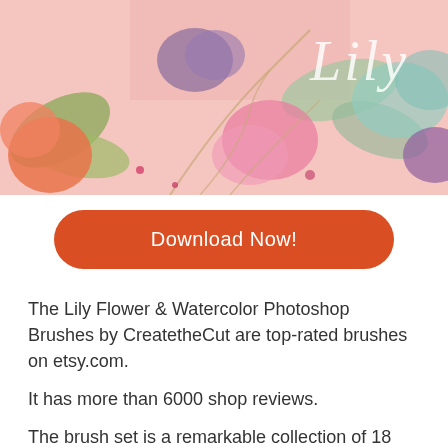[Figure (illustration): Watercolor lily flower banner with pink background and script text 'Lily']
Download Now!
The Lily Flower & Watercolor Photoshop Brushes by CreatetheCut are top-rated brushes on etsy.com.
It has more than 6000 shop reviews.
The brush set is a remarkable collection of 18 hands painted Photoshop brushes that includes:
Pencil drawings
Watercolor